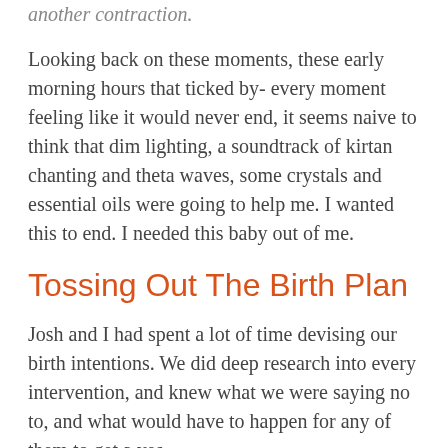another contraction.
Looking back on these moments, these early morning hours that ticked by- every moment feeling like it would never end, it seems naive to think that dim lighting, a soundtrack of kirtan chanting and theta waves, some crystals and essential oils were going to help me. I wanted this to end. I needed this baby out of me.
Tossing Out The Birth Plan
Josh and I had spent a lot of time devising our birth intentions. We did deep research into every intervention, and knew what we were saying no to, and what would have to happen for any of them to get a yes.